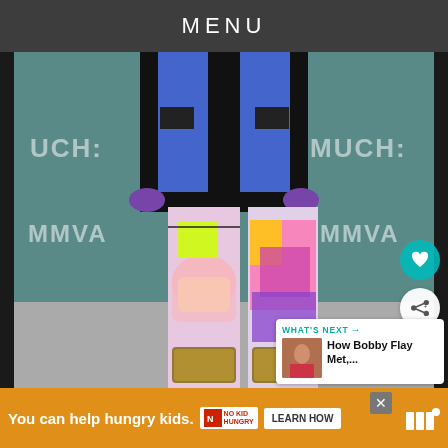MENU
[Figure (photo): Person wearing colorful comic-print leggings and black blazer with blue shirt, standing at MUCH/MMVA event backdrop. Person is wearing large gold studded boots. Only lower body visible.]
WHAT'S NEXT → How Bobby Flay Met,...
You can help hungry kids. NO KID HUNGRY LEARN HOW